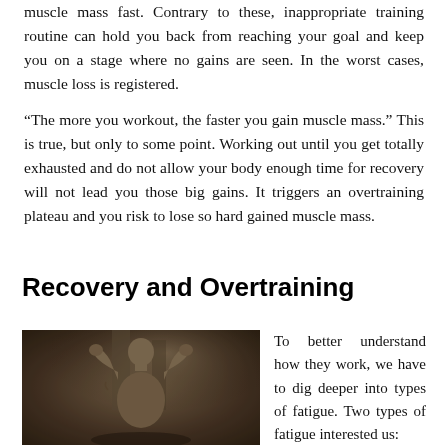muscle mass fast. Contrary to these, inappropriate training routine can hold you back from reaching your goal and keep you on a stage where no gains are seen. In the worst cases, muscle loss is registered.
“The more you workout, the faster you gain muscle mass.” This is true, but only to some point. Working out until you get totally exhausted and do not allow your body enough time for recovery will not lead you those big gains. It triggers an overtraining plateau and you risk to lose so hard gained muscle mass.
Recovery and Overtraining
[Figure (photo): Black and white photo of a muscular bald man with fists raised near his face, appears to be a fighter or bodybuilder in a gym setting.]
To better understand how they work, we have to dig deeper into types of fatigue. Two types of fatigue interested us: